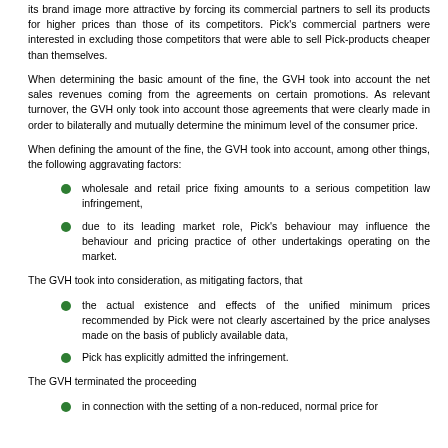its brand image more attractive by forcing its commercial partners to sell its products for higher prices than those of its competitors. Pick's commercial partners were interested in excluding those competitors that were able to sell Pick-products cheaper than themselves.
When determining the basic amount of the fine, the GVH took into account the net sales revenues coming from the agreements on certain promotions. As relevant turnover, the GVH only took into account those agreements that were clearly made in order to bilaterally and mutually determine the minimum level of the consumer price.
When defining the amount of the fine, the GVH took into account, among other things, the following aggravating factors:
wholesale and retail price fixing amounts to a serious competition law infringement,
due to its leading market role, Pick's behaviour may influence the behaviour and pricing practice of other undertakings operating on the market.
The GVH took into consideration, as mitigating factors, that
the actual existence and effects of the unified minimum prices recommended by Pick were not clearly ascertained by the price analyses made on the basis of publicly available data,
Pick has explicitly admitted the infringement.
The GVH terminated the proceeding
in connection with the setting of a non-reduced, normal price for